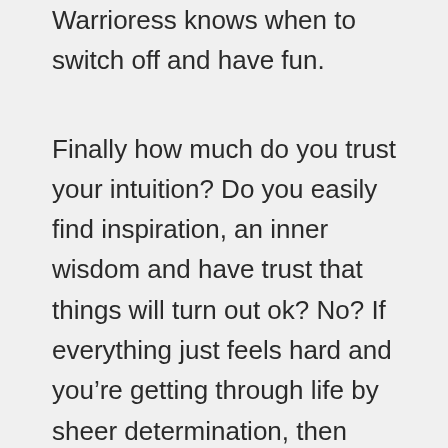Warrioress knows when to switch off and have fun.
Finally how much do you trust your intuition? Do you easily find inspiration, an inner wisdom and have trust that things will turn out ok? No? If everything just feels hard and you’re getting through life by sheer determination, then maybe your Sorceress energy is low. If you could enhance this energy you might start to just instinctively